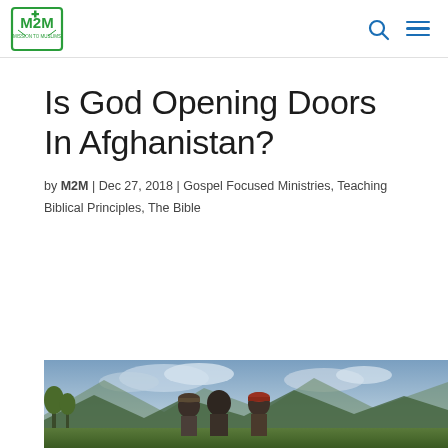[Figure (logo): M2M (Mission to Muslims) green logo with icon]
Is God Opening Doors In Afghanistan?
by M2M | Dec 27, 2018 | Gospel Focused Ministries, Teaching Biblical Principles, The Bible
[Figure (photo): Photo of Afghan men outdoors with mountains and cloudy sky in background]